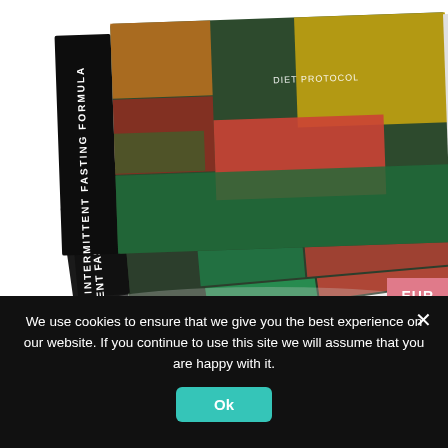[Figure (photo): A stack of three books titled 'Intermittent Fasting Formula' with food imagery on the covers including vegetables, tomatoes, berries, and eggs.]
EUR
"Intermittent Fasting Formula" is an easy-to-follow plan to help you lose weight fast.
The best part is, you don't have to ban your favorite food.
We use cookies to ensure that we give you the best experience on our website. If you continue to use this site we will assume that you are happy with it.
Ok